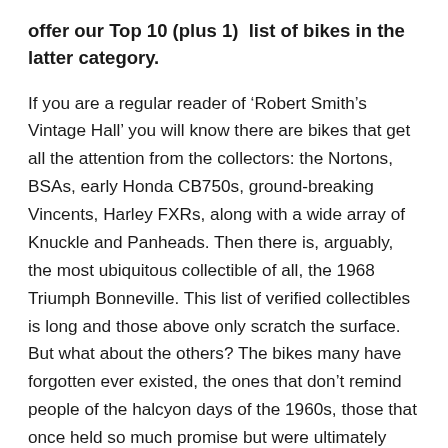offer our Top 10 (plus 1)  list of bikes in the latter category.
If you are a regular reader of ‘Robert Smith’s Vintage Hall’ you will know there are bikes that get all the attention from the collectors: the Nortons, BSAs, early Honda CB750s, ground-breaking Vincents, Harley FXRs, along with a wide array of Knuckle and Panheads. Then there is, arguably, the most ubiquitous collectible of all, the 1968 Triumph Bonneville. This list of verified collectibles is long and those above only scratch the surface. But what about the others? The bikes many have forgotten ever existed, the ones that don’t remind people of the halcyon days of the 1960s, those that once held so much promise but were ultimately wiped from our collective memory or swept into ignominy. The bikes that only Mother could love. The ones we now see as strange, unique and different—to be kind. Forthwith is our own Top 10 list of these models that never quite qualified as collectibles—at least not in the context of Vintage Hall. Consider these, the “other collectibles.”